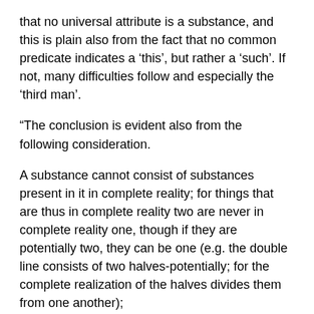that no universal attribute is a substance, and this is plain also from the fact that no common predicate indicates a 'this', but rather a 'such'. If not, many difficulties follow and especially the 'third man'.
“The conclusion is evident also from the following consideration.
A substance cannot consist of substances present in it in complete reality; for things that are thus in complete reality two are never in complete reality one, though if they are potentially two, they can be one (e.g. the double line consists of two halves-potentially; for the complete realization of the halves divides them from one another);
Therefore if the substance is one, it will not consist of substances present in it and present in this way, which Democritus describes rightly; he says one thing cannot